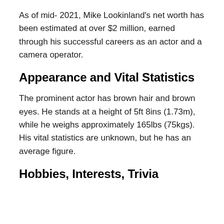As of mid- 2021, Mike Lookinland's net worth has been estimated at over $2 million, earned through his successful careers as an actor and a camera operator.
Appearance and Vital Statistics
The prominent actor has brown hair and brown eyes. He stands at a height of 5ft 8ins (1.73m), while he weighs approximately 165lbs (75kgs). His vital statistics are unknown, but he has an average figure.
Hobbies, Interests, Trivia